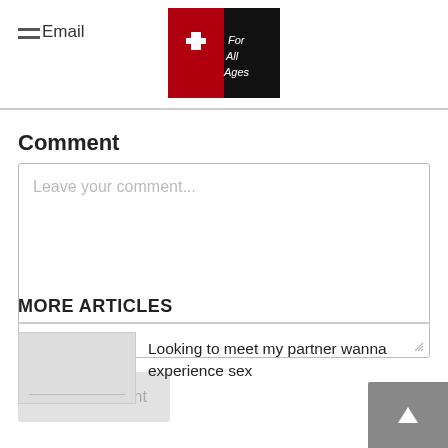Email
[Figure (logo): For All Ages logo with Swiss cross on red and black background with italic script text]
Comment
Leave your comment...
Post Comment
MORE ARTICLES
[Figure (photo): Article thumbnail image placeholder]
Looking to meet my partner wanna experience sex